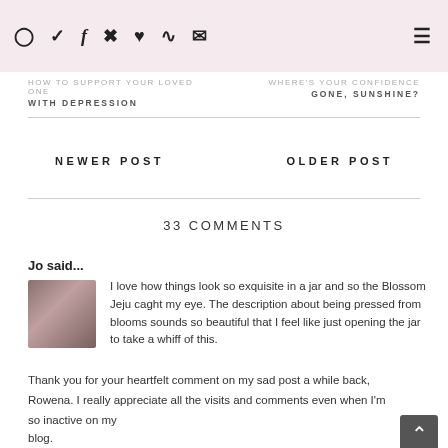Social icons (Instagram, Twitter, Facebook, Pinterest, Heart, RSS, Email) and hamburger menu
HOW TO SUPPORT YOUR LOVED ONE WITH DEPRESSION
WHERE'S YOUR CONFIDENCE GONE, SUNSHINE?
NEWER POST
OLDER POST
33 COMMENTS
Jo said...
I love how things look so exquisite in a jar and so the Blossom Jeju caght my eye. The description about being pressed from blooms sounds so beautiful that I feel like just opening the jar to take a whiff of this.

Thank you for your heartfelt comment on my sad post a while back, Rowena. I really appreciate all the visits and comments even when I'm so inactive on my blog.